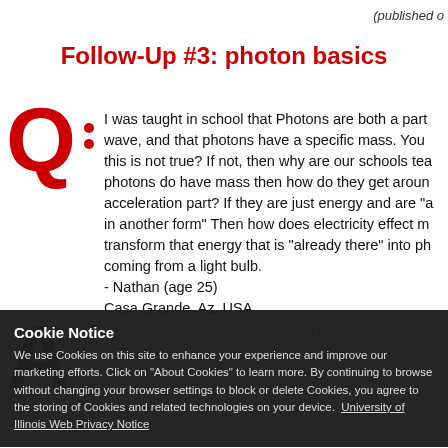(published o
Follow-Up #3: photon basics
I was taught in school that Photons are both a part wave, and that photons have a specific mass. You this is not true? If not, then why are our schools tea photons do have mass then how do they get aroun acceleration part? If they are just energy and are "a in another form" Then how does electricity effect m transform that energy that is "already there" into ph coming from a light bulb.
- Nathan (age 25)
Casa Grande, Az, USA
I don't think that what you were taught in school is ... how w... behavior in some circumstances and more particle in other circumstances.
You can treat a photon as having a specific mass,
Cookie Notice
We use Cookies on this site to enhance your experience and improve our marketing efforts. Click on "About Cookies" to learn more. By continuing to browse without changing your browser settings to block or delete Cookies, you agree to the storing of Cookies and related technologies on your device. University of Illinois Web Privacy Notice